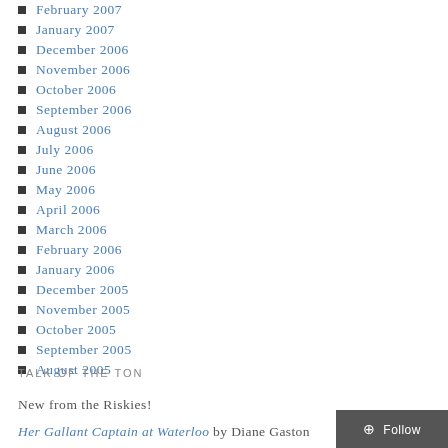February 2007
January 2007
December 2006
November 2006
October 2006
September 2006
August 2006
July 2006
June 2006
May 2006
April 2006
March 2006
February 2006
January 2006
December 2005
November 2005
October 2005
September 2005
August 2005
TALK OF THE TON
New from the Riskies!
Her Gallant Captain at Waterloo by Diane Gaston